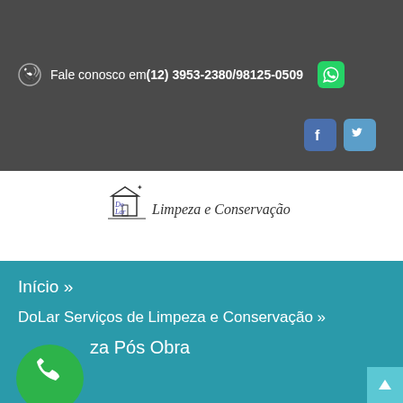Fale conosco em(12) 3953-2380/98125-0509
[Figure (logo): DoLar Limpeza e Conservação logo with house icon]
Início »
DoLar Serviços de Limpeza e Conservação »
za Pós Obra